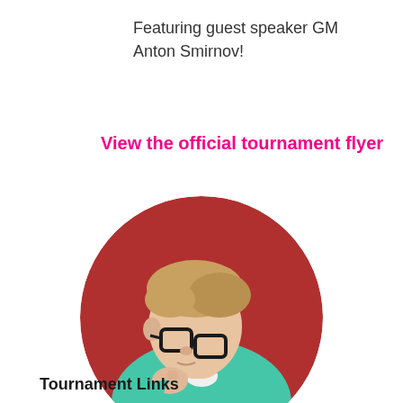Featuring guest speaker GM Anton Smirnov!
View the official tournament flyer
[Figure (photo): Circular cropped portrait photo of a young person with glasses wearing a teal/turquoise sweater, leaning forward in thought with a hand raised to chin, against a red background.]
Tournament Links